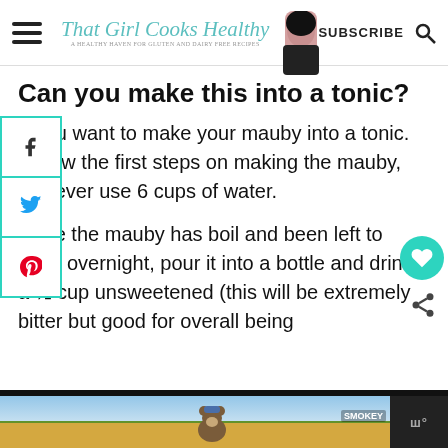That Girl Cooks Healthy — A Healthy Haven for Gluten and Dairy Free Recipes | SUBSCRIBE
Can you make this into a tonic?
If you want to make your mauby into a tonic. Follow the first steps on making the mauby, however use 6 cups of water.
Once the mauby has boil and been left to seep overnight, pour it into a bottle and drink a ½ cup unsweetened (this will be extremely bitter but good for overall being